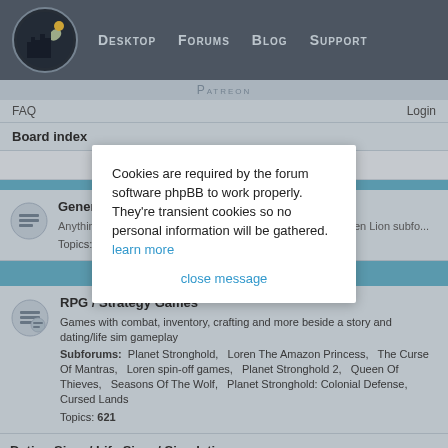Desktop  Forums  Blog  Support
Patreon
FAQ    Login
Board index
It is currently Wed Aug 24, 2022 10:48 pm
Cookies are required by the forum software phpBB to work properly. They're transient cookies so no personal information will be gathered.   learn more
close message
Forum
General ...
Anything n... promo/sale... Lion subfo...
Topics: 202
Forum
RPG / Strategy Games
Games with combat, inventory, crafting and more beside a story and dating/life sim gameplay
Subforums: Planet Stronghold, Loren The Amazon Princess, The Curse Of Mantras, Loren spin-off games, Planet Stronghold 2, Queen Of Thieves, Seasons Of The Wolf, Planet Stronghold: Colonial Defense, Cursed Lands
Topics: 621
Dating Sims / Life Sims / Simulations
Games with gameplay beside the story: raising your skills, map systems, life...